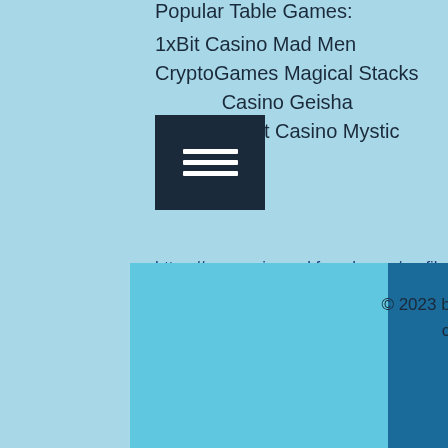Popular Table Games:
1xBit Casino Mad Men
CryptoGames Magical Stacks
Casino Geisha
Crest Casino Mystic Monkeys
https://www.oui-speakfrench.com/profile/maximinagoodfield1683260/profile
https://www.uccalpena.org/profile/bernardkemp13603947/profile
https://www.thriveforgirls.com/profile/dorianturton11644386/profile
https://www.leadesign.be/profile/mirtatudman18944262/profile
© 2023 by Name of Template. Proudly created with Wix.com